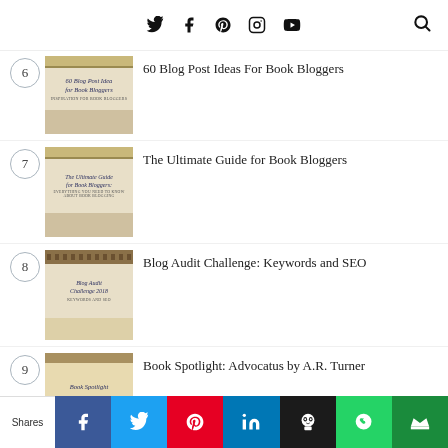Social icons: Twitter, Facebook, Pinterest, Instagram, YouTube, Search
6. 60 Blog Post Ideas For Book Bloggers
7. The Ultimate Guide for Book Bloggers
8. Blog Audit Challenge: Keywords and SEO
9. Book Spotlight: Advocatus by A.R. Turner
Shares | Facebook | Twitter | Pinterest | LinkedIn | Hootsuite | WhatsApp | King